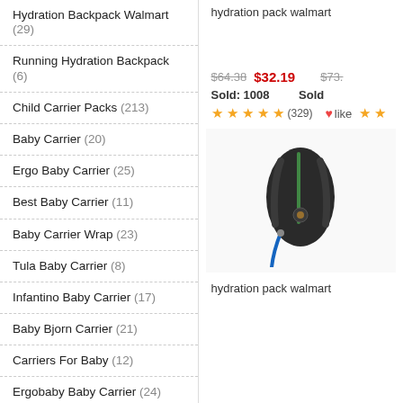Hydration Backpack Walmart (29)
Running Hydration Backpack (6)
Child Carrier Packs (213)
Baby Carrier (20)
Ergo Baby Carrier (25)
Best Baby Carrier (11)
Baby Carrier Wrap (23)
Tula Baby Carrier (8)
Infantino Baby Carrier (17)
Baby Bjorn Carrier (21)
Carriers For Baby (12)
Ergobaby Baby Carrier (24)
Baby Carrier Backpack (19)
Ergo Baby Carrier 360 (22)
Hiking Baby Carrier (11)
hydration pack walmart
$64.38  $32.19   $73.
Sold: 1008   Sold
★★★★★(329)  ❤like ★★
[Figure (photo): Black hydration backpack with blue tube, shown from front]
hydration pack walmart